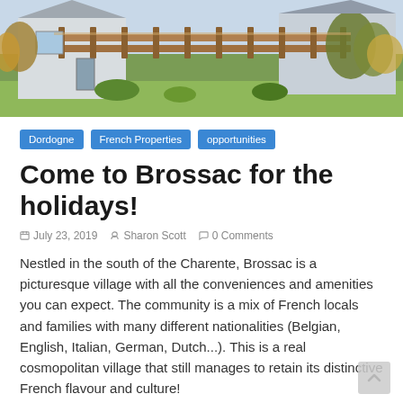[Figure (photo): Photo of a French house/village property with a wooden deck/railing, green lawn, and autumn trees in background]
Dordogne
French Properties
opportunities
Come to Brossac for the holidays!
July 23, 2019   Sharon Scott   0 Comments
Nestled in the south of the Charente, Brossac is a picturesque village with all the conveniences and amenities you can expect. The community is a mix of French locals and families with many different nationalities (Belgian, English, Italian, German, Dutch...). This is a real cosmopolitan village that still manages to retain its distinctive French flavour and culture!